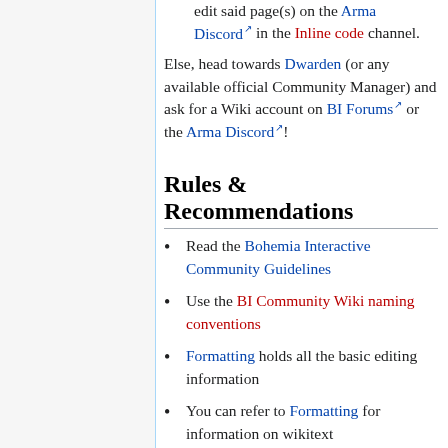edit said page(s) on the Arma Discord (external) in the Inline code channel.
Else, head towards Dwarden (or any available official Community Manager) and ask for a Wiki account on BI Forums (external) or the Arma Discord (external)!
Rules & Recommendations
Read the Bohemia Interactive Community Guidelines
Use the BI Community Wiki naming conventions
Formatting holds all the basic editing information
You can refer to Formatting for information on wikitext
Use categories to distinguish content specific for a particular project (e.g.